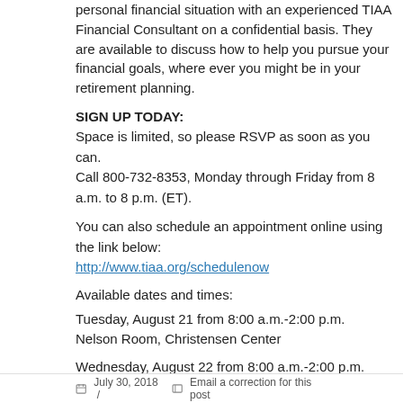personal financial situation with an experienced TIAA Financial Consultant on a confidential basis. They are available to discuss how to help you pursue your financial goals, where ever you might be in your retirement planning.
SIGN UP TODAY:
Space is limited, so please RSVP as soon as you can.
Call 800-732-8353, Monday through Friday from 8 a.m. to 8 p.m. (ET).
You can also schedule an appointment online using the link below:
http://www.tiaa.org/schedulenow
Available dates and times:
Tuesday, August 21 from 8:00 a.m.-2:00 p.m.
Nelson Room, Christensen Center
Wednesday, August 22 from 8:00 a.m.-2:00 p.m.
Nelson Room, Christensen Center
Thursday, August 23 from 8:00 a.m.-2:00 p.m.
Nelson Room, Christensen Center
For questions, please contact Nicole at peterlin@augsburg.edu.
July 30, 2018  /  Email a correction for this post